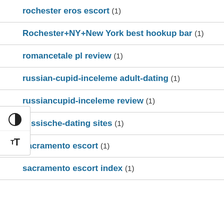rochester eros escort (1)
Rochester+NY+New York best hookup bar (1)
romancetale pl review (1)
russian-cupid-inceleme adult-dating (1)
russiancupid-inceleme review (1)
russische-dating sites (1)
sacramento escort (1)
sacramento escort index (1)